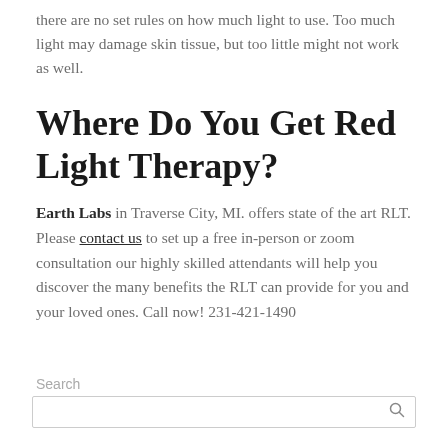there are no set rules on how much light to use. Too much light may damage skin tissue, but too little might not work as well.
Where Do You Get Red Light Therapy?
Earth Labs in Traverse City, MI. offers state of the art RLT. Please contact us to set up a free in-person or zoom consultation our highly skilled attendants will help you discover the many benefits the RLT can provide for you and your loved ones. Call now! 231-421-1490